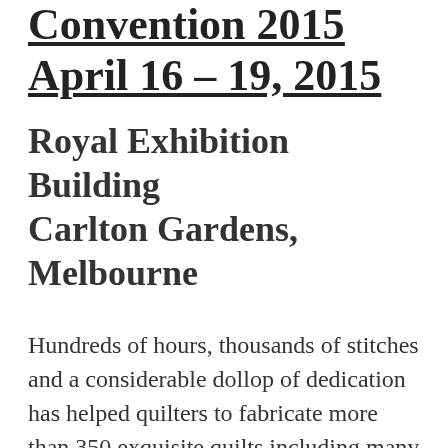Convention 2015 April 16 – 19, 2015
Royal Exhibition Building Carlton Gardens, Melbourne
Hundreds of hours, thousands of stitches and a considerable dollop of dedication has helped quilters to fabricate more than 350 exquisite quilts including many celebrating the ANZAC Centenary which will be on show at the biggest, most celebrated quilting event in the southern hemisphere, the 11th annual